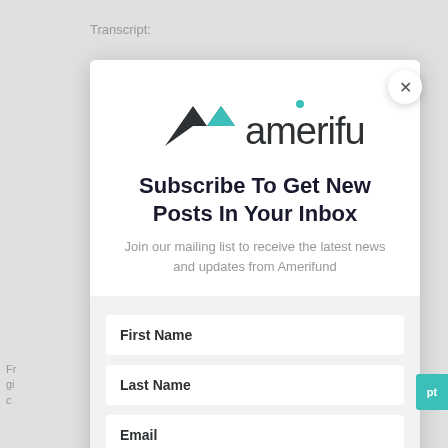Transcript:
[Figure (logo): Amerifund logo with two chevron/mountain shapes (dark and teal) and the word 'amerifund' in dark gray]
Subscribe To Get New Posts In Your Inbox
Join our mailing list to receive the latest news and updates from Amerifund
First Name
Last Name
Email